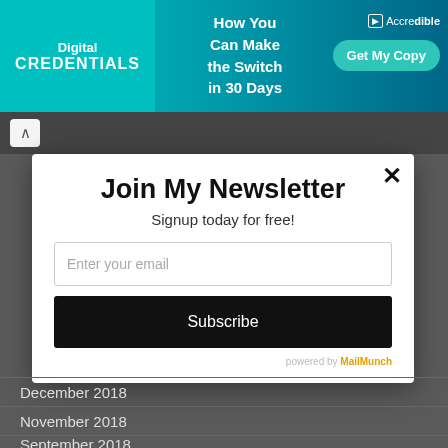[Figure (screenshot): Banner advertisement for Digital Credentials showing 'How You Can Make the Switch in 30 Days' with a 'Get My Copy' button and Accredible branding]
[Figure (screenshot): Newsletter signup modal popup with title 'Join My Newsletter', subtitle 'Signup today for free!', email input field, Subscribe button, and 'powered by MailMunch' footer]
December 2018
November 2018
September 2018